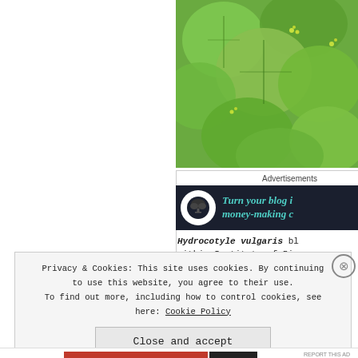[Figure (photo): Close-up photograph of Hydrocotyle vulgaris (marsh pennywort) showing round green leaves with small yellow-green flowers, filling the upper right portion of the page.]
Advertisements
[Figure (infographic): Dark advertisement banner with bonsai tree icon in white circle and teal italic text reading 'Turn your blog i... money-making c...']
Hydrocotyle vulgaris bl... within Institute of Bio... li... is... Ce...
Privacy & Cookies: This site uses cookies. By continuing to use this website, you agree to their use. To find out more, including how to control cookies, see here: Cookie Policy
Close and accept